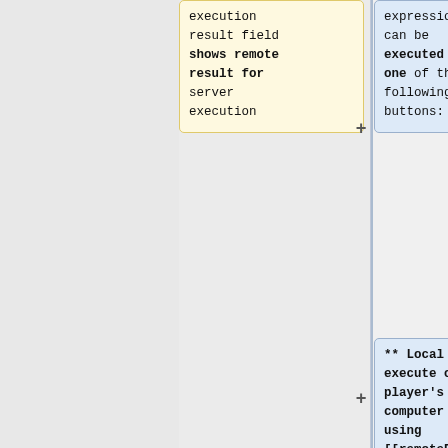[Figure (flowchart): Flowchart showing two columns: left (yellow box) with text about execution result field showing remote result for server execution; right (blue boxes) with text about expression can be executed by one of the following buttons, then ** Local - execute on player's computer using [[remoteExec]] to [[call]] given code, then ** Global - execute on all computers using. Connected by minus and plus signs.]